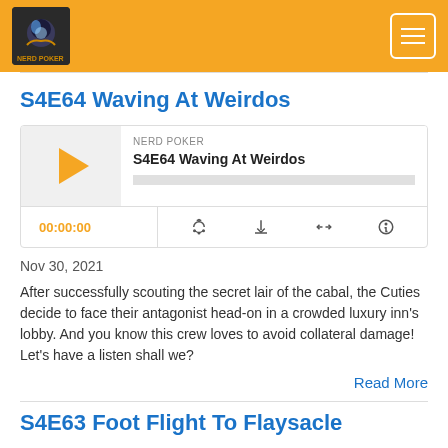Nerd Poker
S4E64 Waving At Weirdos
[Figure (other): Audio player widget with play button, episode title 'S4E64 Waving At Weirdos', NERD POKER label, progress bar, time display 00:00:00, and control icons for RSS, download, embed, and share]
Nov 30, 2021
After successfully scouting the secret lair of the cabal, the Cuties decide to face their antagonist head-on in a crowded luxury inn's lobby. And you know this crew loves to avoid collateral damage! Let's have a listen shall we?
Read More
S4E63 Foot Flight To Flaysacle